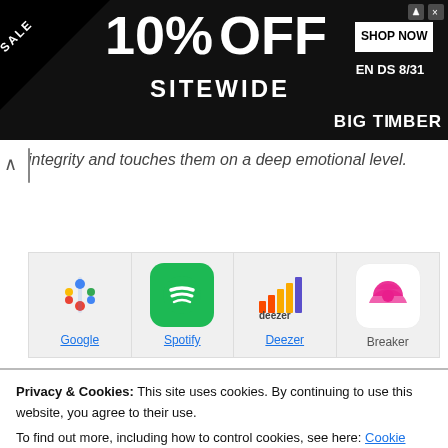[Figure (screenshot): Advertisement banner: SALE 10% OFF SITEWIDE, SHOP NOW, ENDS 8/31, BIG TIMBER with gazebo photo]
integrity and touches them on a deep emotional level.
[Figure (screenshot): App grid row 1: Google Podcasts, Spotify, Deezer, Breaker icons with labels]
[Figure (screenshot): App grid row 2: Pocket Casts, RadioPublic, Stitcher, Kunel icons (partially visible)]
Privacy & Cookies: This site uses cookies. By continuing to use this website, you agree to their use.
To find out more, including how to control cookies, see here: Cookie Policy
Close and accept